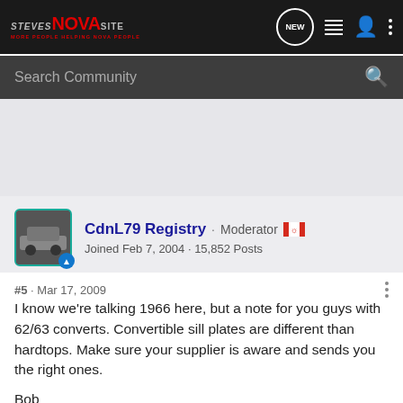STEVES NOVA SITE · NEW · [nav icons]
Search Community
CdnL79 Registry · Moderator 🇨🇦
Joined Feb 7, 2004 · 15,852 Posts
#5 · Mar 17, 2009
I know we're talking 1966 here, but a note for you guys with 62/63 converts. Convertible sill plates are different than hardtops. Make sure your supplier is aware and sends you the right ones.

Bob